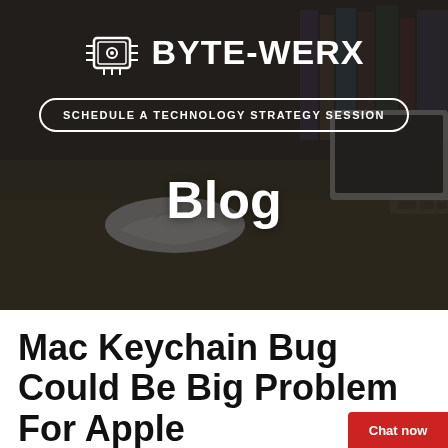[Figure (screenshot): Hero banner with dark background showing a laptop and Apple Magic Mouse on a desk. BYTE-WERX logo with chip icon at top. A 'SCHEDULE A TECHNOLOGY STRATEGY SESSION' button below logo. 'Blog' heading centered near bottom of banner.]
Mac Keychain Bug Could Be Big Problem For Apple